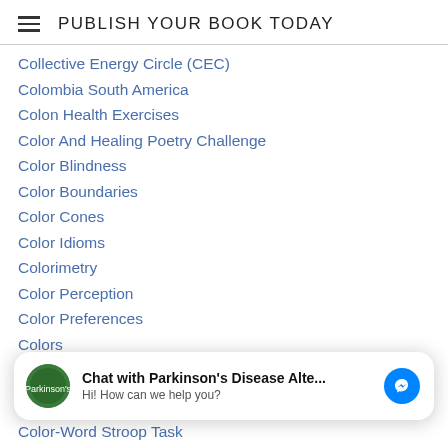PUBLISH YOUR BOOK TODAY
Collective Energy Circle (CEC)
Colombia South America
Colon Health Exercises
Color And Healing Poetry Challenge
Color Blindness
Color Boundaries
Color Cones
Color Idioms
Colorimetry
Color Perception
Color Preferences
Colors
Color Therapy
ColorVision
Chat with Parkinson's Disease Alte... Hi! How can we help you?
Color-Word Stroop Task